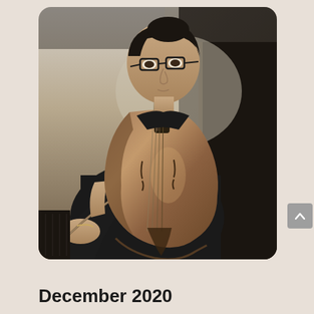[Figure (photo): A female cellist wearing black clothing and glasses, playing cello. The image is in sepia/desaturated tones. She is focused downward on her instrument. The photo has rounded corners.]
December 2020